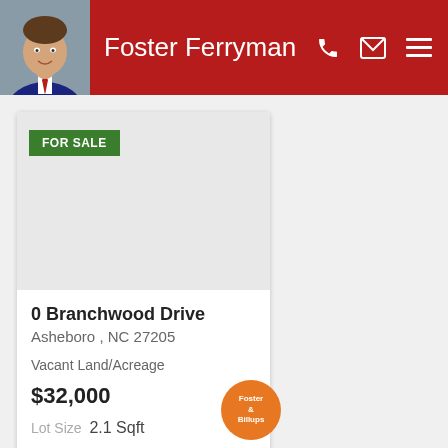Foster Ferryman
[Figure (illustration): For Sale listing card with gray image placeholder and green FOR SALE badge]
0 Branchwood Drive
Asheboro , NC 27205
Vacant Land/Acreage
$32,000
Lot Size  2.1 Sqft
[Figure (logo): Foster & Billups circular orange logo at bottom center]